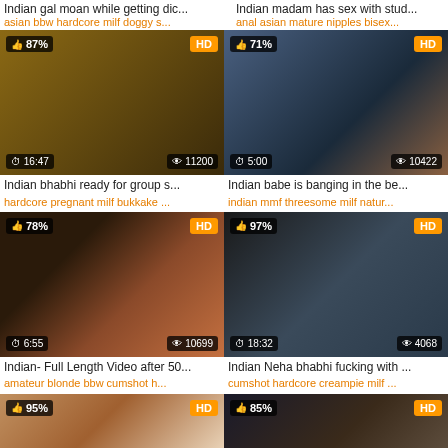Indian gal moan while getting dic...
Indian madam has sex with stud...
asian bbw hardcore milf doggy s...
anal asian mature nipples bisex...
[Figure (screenshot): Video thumbnail, 87% rating, HD, 16:47 duration, 11200 views]
[Figure (screenshot): Video thumbnail, 71% rating, HD, 5:00 duration, 10422 views]
Indian bhabhi ready for group s...
Indian babe is banging in the be...
hardcore pregnant milf bukkake ...
indian mmf threesome milf natur...
[Figure (screenshot): Video thumbnail, 78% rating, HD, 6:55 duration, 10699 views]
[Figure (screenshot): Video thumbnail, 97% rating, HD, 18:32 duration, 4068 views]
Indian- Full Length Video after 50...
Indian Neha bhabhi fucking with ...
amateur blonde bbw cumshot h...
cumshot hardcore creampie milf ...
[Figure (screenshot): Video thumbnail, 95% rating, HD, partial view]
[Figure (screenshot): Video thumbnail, 85% rating, HD, partial view with scroll-to-top button]